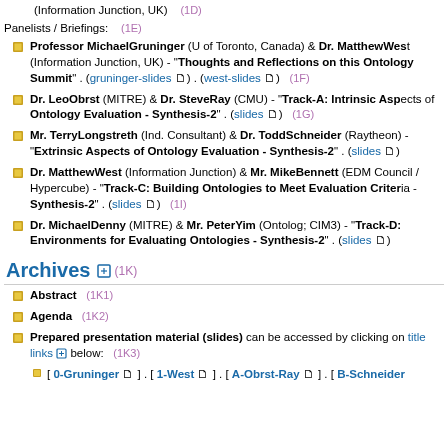(Information Junction, UK)   (1D)
Panelists / Briefings:   (1E)
Professor MichaelGruninger (U of Toronto, Canada) & Dr. MatthewWest (Information Junction, UK) - "Thoughts and Reflections on this Ontology Summit" . ( gruninger-slides ) . ( west-slides )   (1F)
Dr. LeoObrst (MITRE) & Dr. SteveRay (CMU) - "Track-A: Intrinsic Aspects of Ontology Evaluation - Synthesis-2" . ( slides )   (1G)
Mr. TerryLongstreth (Ind. Consultant) & Dr. ToddSchneider (Raytheon) - "Extrinsic Aspects of Ontology Evaluation - Synthesis-2" . ( slides )
Dr. MatthewWest (Information Junction) & Mr. MikeBennett (EDM Council / Hypercube) - "Track-C: Building Ontologies to Meet Evaluation Criteria - Synthesis-2" . ( slides )   (1I)
Dr. MichaelDenny (MITRE) & Mr. PeterYim (Ontolog; CIM3) - "Track-D: Environments for Evaluating Ontologies - Synthesis-2" . ( slides )
Archives  (1K)
Abstract   (1K1)
Agenda   (1K2)
Prepared presentation material (slides) can be accessed by clicking on title links  below:   (1K3)
[ 0-Gruninger ] . [ 1-West ] . [ A-Obrst-Ray ] . [ B-Schneider